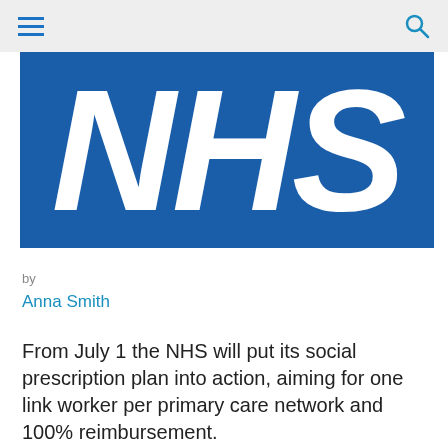[Figure (logo): NHS logo: white italic bold text 'NHS' on blue background]
by
Anna Smith
From July 1 the NHS will put its social prescription plan into action, aiming for one link worker per primary care network and 100% reimbursement.